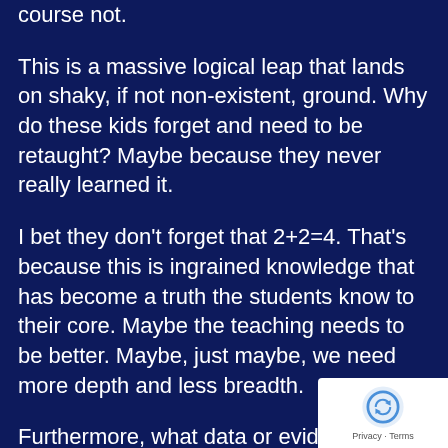course not.
This is a massive logical leap that lands on shaky, if not non-existent, ground. Why do these kids forget and need to be retaught? Maybe because they never really learned it.
I bet they don't forget that 2+2=4. That's because this is ingrained knowledge that has become a truth the students know to their core. Maybe the teaching needs to be better. Maybe, just maybe, we need more depth and less breadth.
Furthermore, what data or evidence is there that going to school longer makes for 'smarter' or more successful students? Here's another gem: